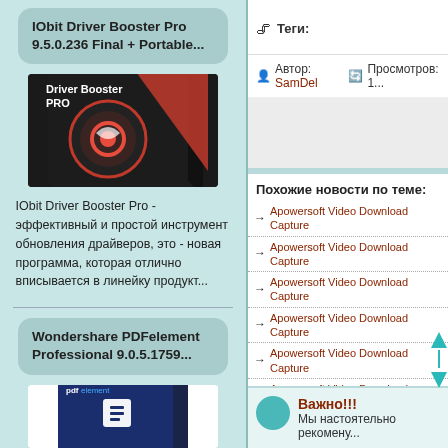IObit Driver Booster Pro 9.5.0.236 Final + Portable...
[Figure (photo): IObit Driver Booster Pro product box — dark box with red circular logo]
IObit Driver Booster Pro - эффективный и простой инструмент обновления драйверов, это - новая программа, которая отлично вписывается в линейку продукт...
Wondershare PDFelement Professional 9.0.5.1759...
[Figure (photo): Wondershare PDFelement product box — dark blue box with white Wondershare logo]
Теги:
Автор: SamDel   Просмотров: 1...
Похожие новости по теме:
→ Apowersoft Video Download Capture
→ Apowersoft Video Download Capture
→ Apowersoft Video Download Capture
→ Apowersoft Video Download Capture
→ Apowersoft Video Download Capture
→ Apowersoft Video Download Capture
→ Apowersoft Video Download Capture
→ Apowersoft Video Download Capture
→ Apowersoft Video Download Capture
→ Apowersoft Video Download Capture
Важно!!!
Мы настоятельно рекомену...